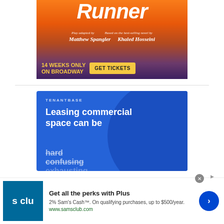[Figure (illustration): Kite Runner Broadway advertisement. Orange/sunset gradient background with silhouettes. Text: 'Runner', 'Play adapted by Matthew Spangler', 'Based on the best-selling novel by Khaled Hosseini', '14 WEEKS ONLY ON BROADWAY', 'GET TICKETS' button.]
[Figure (illustration): TenantBase advertisement on blue background with large circle. Text: 'TENANTBASE', 'Leasing commercial space can be', with strikethrough words 'hard', 'confusing', 'exhausting'.]
[Figure (illustration): Sam's Club advertisement. Teal logo with 's clu' text. 'Get all the perks with Plus'. '2% Sam's Cash™. On qualifying purchases, up to $500/year.' 'www.samsclub.com'. Blue circular arrow button. Close X button.]